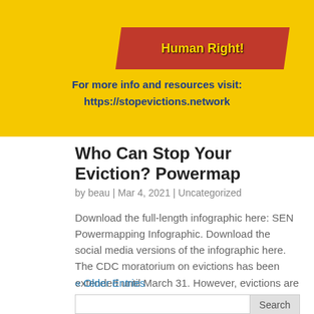[Figure (infographic): Yellow banner with red diagonal stripe containing text 'Human Right!' and fist/megaphone graphic. Blue bold text reads 'For more info and resources visit: https://stopevictions.network']
Who Can Stop Your Eviction? Powermap
by beau | Mar 4, 2021 | Uncategorized
Download the full-length infographic here: SEN Powermapping Infographic. Download the social media versions of the infographic here. The CDC moratorium on evictions has been extended until March 31. However, evictions are still being filed, heard, and executed in NC....
« Older Entries